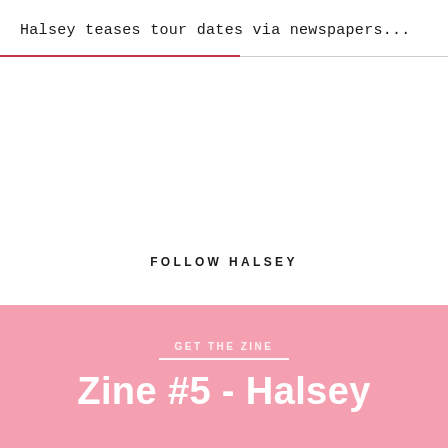Halsey teases tour dates via newspapers...
FOLLOW HALSEY
GET THE ZINE
Zine #5 - Halsey